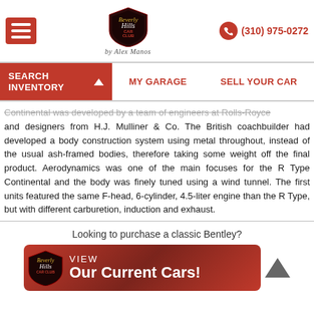Beverly Hills Car Club by Alex Manos | (310) 975-0272
SEARCH INVENTORY | MY GARAGE | SELL YOUR CAR
Continental was developed by a team of engineers at Rolls-Royce and designers from H.J. Mulliner & Co. The British coachbuilder had developed a body construction system using metal throughout, instead of the usual ash-framed bodies, therefore taking some weight off the final product. Aerodynamics was one of the main focuses for the R Type Continental and the body was finely tuned using a wind tunnel. The first units featured the same F-head, 6-cylinder, 4.5-liter engine than the R Type, but with different carburetion, induction and exhaust.
Looking to purchase a classic Bentley?
VIEW Our Current Cars!